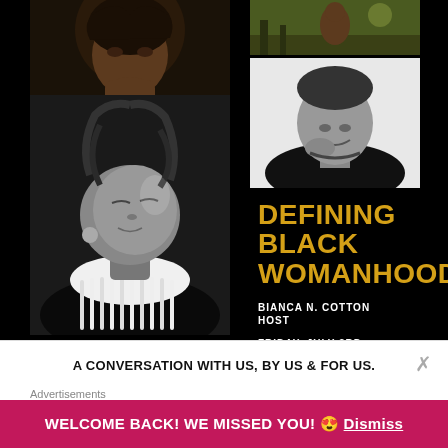[Figure (photo): Promotional poster for 'Defining Black Womanhood' event on black background. Collage of four photographs of Black women. Large center-left photo shows woman with braids/locs and elaborate white neckpiece in black and white. Top-left shows woman with curly hair in color. Top-right upper shows outdoor nature scene in color. Top-right lower shows smiling woman in black and white portrait.]
DEFINING BLACK WOMANHOOD
BIANCA N. COTTON
HOST
FRIDAY, JULY 3RD
A CONVERSATION WITH US, BY US & FOR US.
Advertisements
WELCOME BACK! WE MISSED YOU! 😍 Dismiss